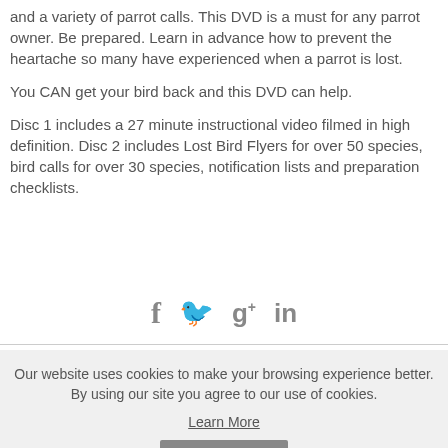and a variety of parrot calls. This DVD is a must for any parrot owner. Be prepared. Learn in advance how to prevent the heartache so many have experienced when a parrot is lost.
You CAN get your bird back and this DVD can help.
Disc 1 includes a 27 minute instructional video filmed in high definition. Disc 2 includes Lost Bird Flyers for over 50 species,
bird calls for over 30 species, notification lists and preparation checklists.
[Figure (other): Social media icons: Facebook (f), Twitter (bird), Google+ (g+), LinkedIn (in)]
Our website uses cookies to make your browsing experience better. By using our site you agree to our use of cookies. Learn More
I Agree